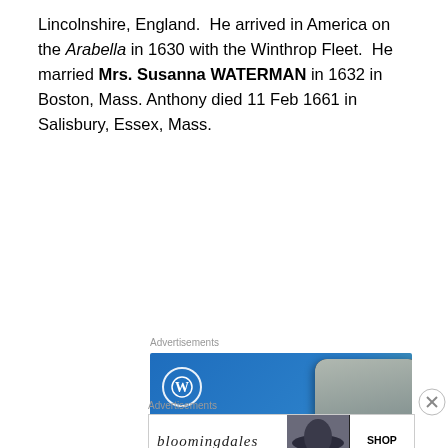Lincolnshire, England. He arrived in America on the Arabella in 1630 with the Winthrop Fleet. He married Mrs. Susanna WATERMAN in 1632 in Boston, Mass. Anthony died 11 Feb 1661 in Salisbury, Essex, Mass.
Advertisements
[Figure (illustration): WordPress advertisement banner showing 'Create immersive stories.' with WordPress logo on a blue-to-green gradient background, and a phone mockup on the right showing a waterfall scene with 'VISITING SKOGAFOSS' banner.]
Advertisements
[Figure (illustration): Bloomingdale's advertisement banner with logo text 'bloomingdales', subtext 'View Today's Top Deals!', a woman with a hat, and a 'SHOP NOW >' button.]